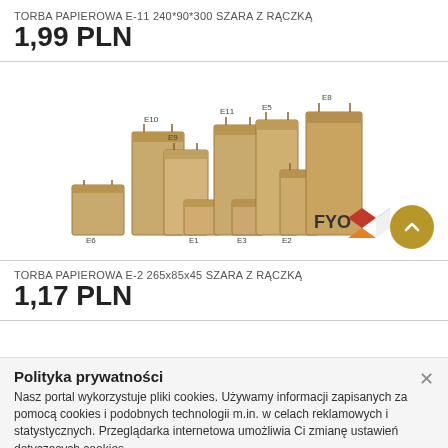TORBA PAPIEROWA E-11 240*90*300 SZARA Z RĄCZKĄ
1,99 PLN
[Figure (photo): Collection of brown paper bags of various sizes labeled E1 through E11, E5, E8, E9, with the FYO brand logo visible in the bottom right corner.]
TORBA PAPIEROWA E-2 265x85x45 SZARA Z RĄCZKĄ
1,17 PLN
Polityka prywatności
Nasz portal wykorzystuje pliki cookies. Używamy informacji zapisanych za pomocą cookies i podobnych technologii m.in. w celach reklamowych i statystycznych. Przeglądarka internetowa umożliwia Ci zmianę ustawień dotyczących cookies.